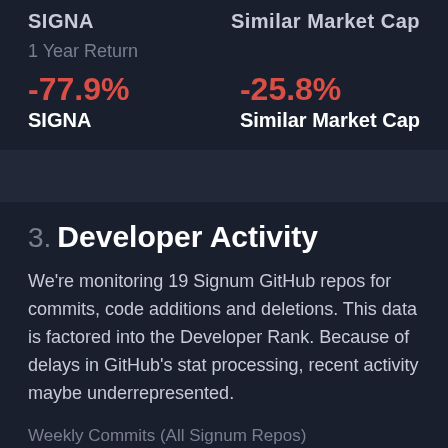SIGNA    Similar Market Cap
1 Year Return
-77.9%
SIGNA
-25.8%
Similar Market Cap
3. Developer Activity
We're monitoring 19 Signum GitHub repos for commits, code additions and deletions. This data is factored into the Developer Rank. Because of delays in GitHub's stat processing, recent activity maybe underrepresented.
Weekly Commits (All Signum Repos)